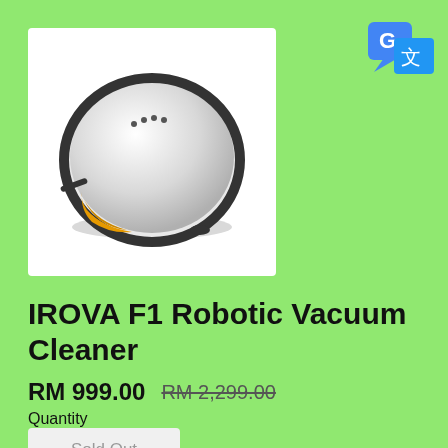[Figure (photo): IROVA F1 Robotic Vacuum Cleaner product photo — a round flat robotic vacuum with white/silver top surface and black side, shown on white background]
[Figure (logo): Google Translate icon — blue speech bubble with G and overlapping blue document icon with Chinese character]
IROVA F1 Robotic Vacuum Cleaner
RM 999.00  RM 2,299.00
Quantity
Sold Out